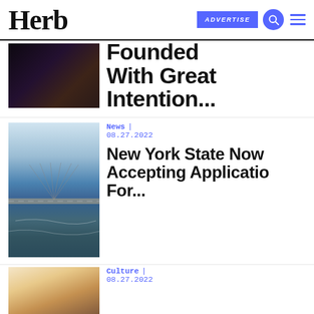Herb | ADVERTISE
[Figure (photo): Dark portrait photo partially visible at top, cropped]
Founded With Great Intention...
[Figure (photo): Aerial view of New York City with bridge over river]
News | 08.27.2022
New York State Now Accepting Applications For...
[Figure (photo): Food/dessert photo, partially visible at bottom]
Culture | 08.27.2022